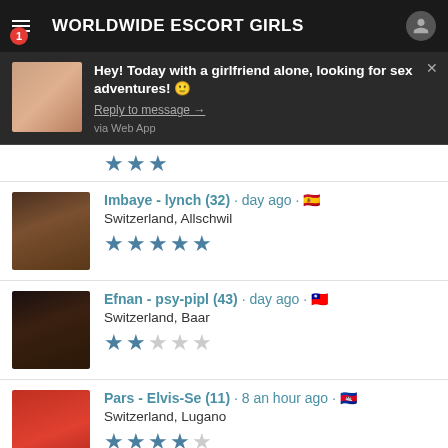WORLDWIDE ESCORT GIRLS
Hey! Today with a girlfriend alone, looking for sex adventures! 🙂
Reply to message →
via Web App
Imbaye - lynch (32) · day ago · 🇪🇸
Switzerland, Allschwil
★★★★★
Efnan - psy-pipl (43) · day ago · 🇹🇼
Switzerland, Baar
★★☆☆☆
Pars - Elvis-Se (11) · 8 an hour ago · 🇰🇭
Switzerland, Lugano
★★★★☆
| Author | Escort | Date | Response |
| --- | --- | --- | --- |